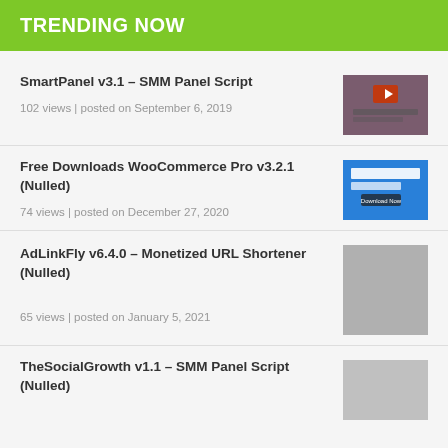TRENDING NOW
SmartPanel v3.1 – SMM Panel Script
102 views | posted on September 6, 2019
Free Downloads WooCommerce Pro v3.2.1 (Nulled)
74 views | posted on December 27, 2020
AdLinkFly v6.4.0 – Monetized URL Shortener (Nulled)
65 views | posted on January 5, 2021
TheSocialGrowth v1.1 – SMM Panel Script (Nulled)